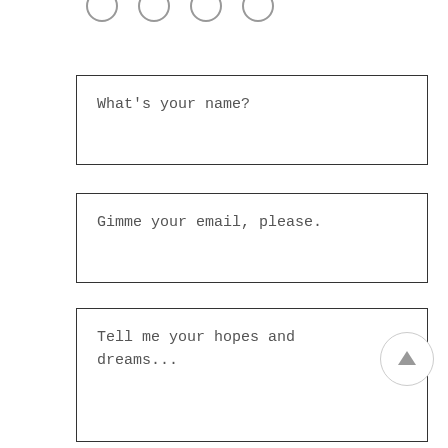[Figure (screenshot): Partial top of page showing cropped circular icon buttons]
What's your name?
Gimme your email, please.
Tell me your hopes and dreams...
[Figure (other): Scroll-to-top circular button with upward arrow icon]